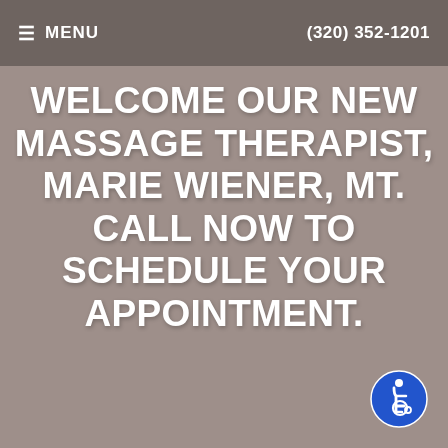≡ MENU   (320) 352-1201
WELCOME OUR NEW MASSAGE THERAPIST, MARIE WIENER, MT. CALL NOW TO SCHEDULE YOUR APPOINTMENT.
LOCATION
Find us on the map!
[Figure (other): Accessibility icon — blue circle with wheelchair user symbol]